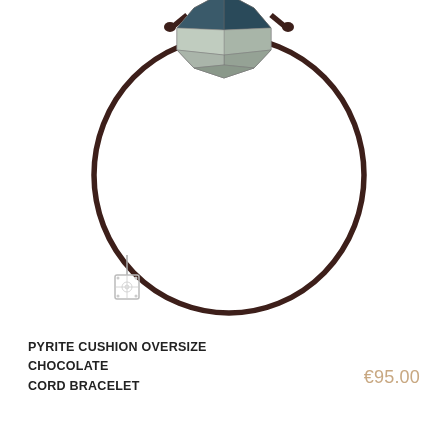[Figure (photo): Product photo of a pyrite cushion oversize chocolate cord bracelet. A dark brown/chocolate colored cord forms a circular bracelet shape. At the top center is a large faceted pyrite gemstone bead with silvery-gray and dark blue-green geometric facets. At the lower left of the cord is a small ornate silver square charm with a floral/geometric lattice pattern. The background is white.]
PYRITE CUSHION OVERSIZE CHOCOLATE CORD BRACELET
€95.00